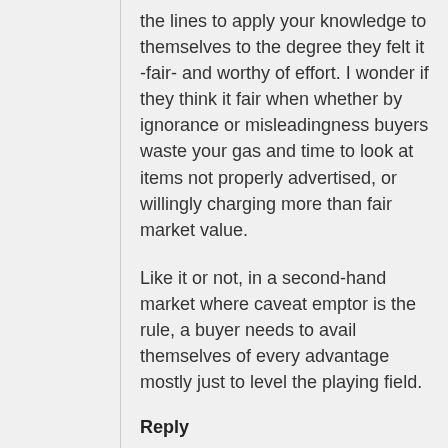the lines to apply your knowledge to themselves to the degree they felt it -fair- and worthy of effort. I wonder if they think it fair when whether by ignorance or misleadingness buyers waste your gas and time to look at items not properly advertised, or willingly charging more than fair market value.
Like it or not, in a second-hand market where caveat emptor is the rule, a buyer needs to avail themselves of every advantage mostly just to level the playing field.
Reply